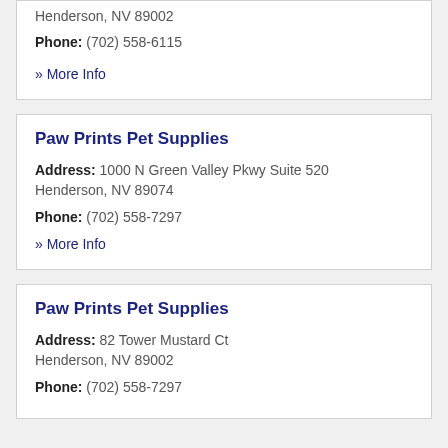Henderson, NV 89002
Phone: (702) 558-6115
» More Info
Paw Prints Pet Supplies
Address: 1000 N Green Valley Pkwy Suite 520
Henderson, NV 89074
Phone: (702) 558-7297
» More Info
Paw Prints Pet Supplies
Address: 82 Tower Mustard Ct
Henderson, NV 89002
Phone: (702) 558-7297